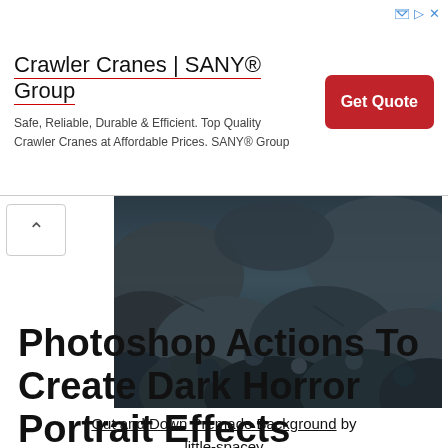[Figure (infographic): Advertisement banner for Crawler Cranes by SANY Group with red Get Quote button]
[Figure (photo): Dark rocky terrain photograph used as a premade background, moody blue-grey tones]
Out and Down Premade Background by little-spacey
Photoshop Actions To Create Dark Horror Portrait Effects